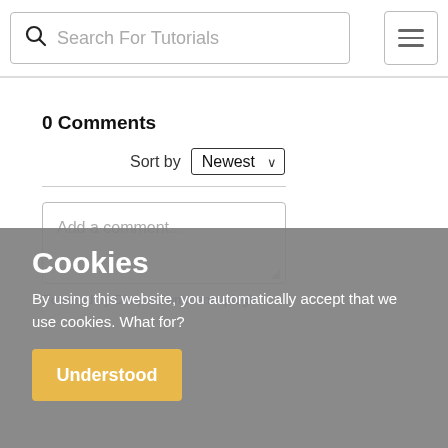Search For Tutorials
0 Comments
Sort by Newest
Add a comment...
Powered by Disqus Comments plugin
Cookies
By using this website, you automatically accept that we use cookies. What for?
Understood